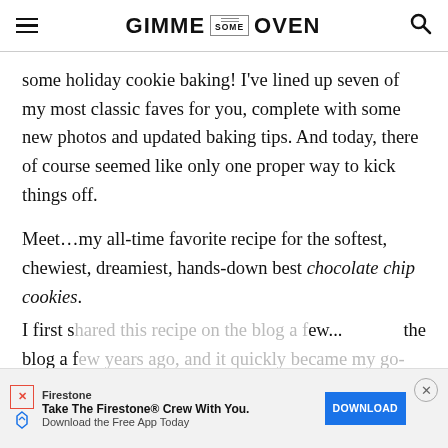GIMME SOME OVEN
some holiday cookie baking! I've lined up seven of my most classic faves for you, complete with some new photos and updated baking tips. And today, there of course seemed like only one proper way to kick things off.
Meet…my all-time favorite recipe for the softest, chewiest, dreamiest, hands-down best chocolate chip cookies.
I first s[hared this recipe on the blog a f]ew years ago... the blog a f[ew...]go-to,